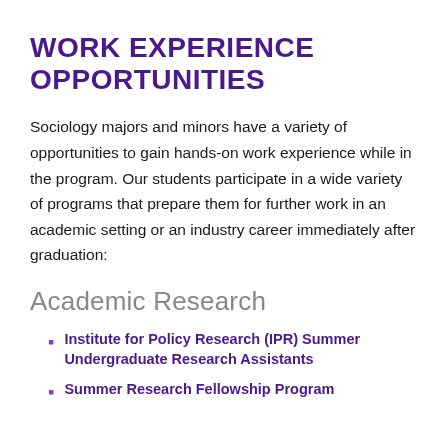WORK EXPERIENCE OPPORTUNITIES
Sociology majors and minors have a variety of opportunities to gain hands-on work experience while in the program. Our students participate in a wide variety of programs that prepare them for further work in an academic setting or an industry career immediately after graduation:
Academic Research
Institute for Policy Research (IPR) Summer Undergraduate Research Assistants
Summer Research Fellowship Program